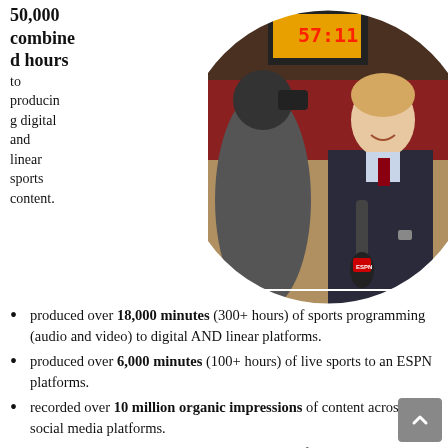50,000 combined hours to producing digital and linear sports content.
[Figure (photo): Young man in a suit holding a microphone on a basketball court, smiling at the camera, with another person in the background, inside a circular crop.]
produced over 18,000 minutes (300+ hours) of sports programming (audio and video) to digital AND linear platforms.
produced over 6,000 minutes (100+ hours) of live sports to an ESPN platforms.
recorded over 10 million organic impressions of content across all social media platforms.
recorded over 2 million organic video views of content